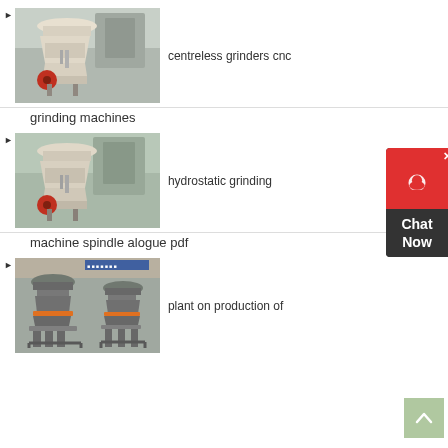centreless grinders cnc
[Figure (photo): Industrial cone crusher machine in a factory setting, white/cream colored body with red wheel]
grinding machines
hydrostatic grinding
[Figure (photo): Industrial cone crusher machine in a factory setting, white/cream colored body with red wheel, similar to first image]
machine spindle alogue pdf
plant on production of
[Figure (photo): Two gray industrial cone crusher machines with orange rings at base, in factory setting]